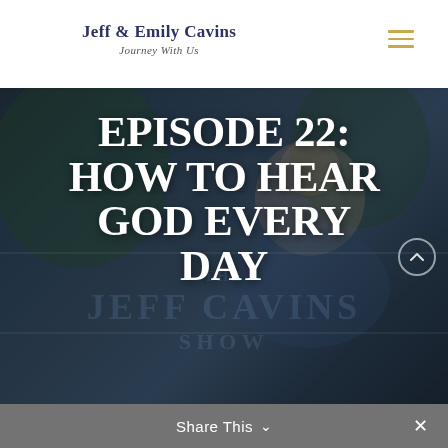Jeff & Emily Cavins — Journey With Us
[Figure (photo): Hero banner showing a man (Jeff Cavins) smiling outdoors with trees in background, overlaid with large white bold text reading EPISODE 22: HOW TO HEAR GOD EVERY DAY and watermark text THE JEFF CAVINS SHOW]
EPISODE 22: HOW TO HEAR GOD EVERY DAY
Share This ∨